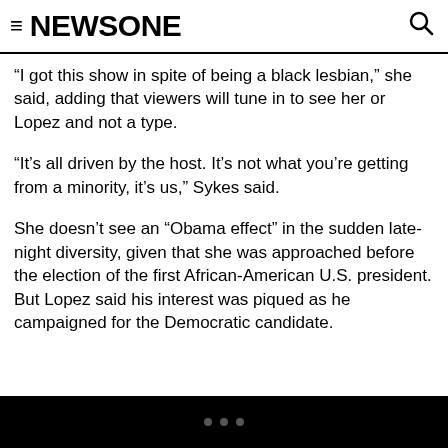≡ NEWSONE
“I got this show in spite of being a black lesbian,” she said, adding that viewers will tune in to see her or Lopez and not a type.
“It’s all driven by the host. It’s not what you’re getting from a minority, it’s us,” Sykes said.
She doesn’t see an “Obama effect” in the sudden late-night diversity, given that she was approached before the election of the first African-American U.S. president. But Lopez said his interest was piqued as he campaigned for the Democratic candidate.
• • •